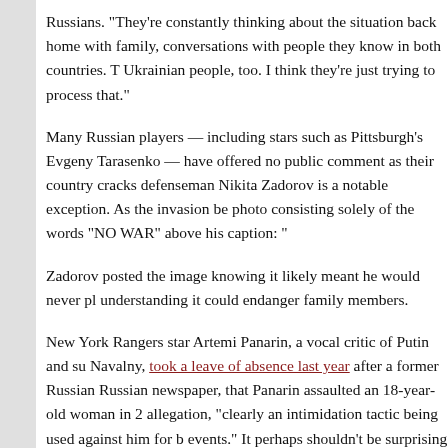Russians. “They’re constantly thinking about the situation back home with family, conversations with people they know in both countries. The Ukrainian people, too. I think they’re just trying to process that.”
Many Russian players — including stars such as Pittsburgh’s Evgeny Tarasenko — have offered no public comment as their country cracks down, defenseman Nikita Zadorov is a notable exception. As the invasion began, he posted a photo consisting solely of the words “NO WAR” above his caption: “…”
Zadorov posted the image knowing it likely meant he would never play again, understanding it could endanger family members.
New York Rangers star Artemi Panarin, a vocal critic of Putin and supporter of Navalny, took a leave of absence last year after a former Russian coach told a Russian newspaper, that Panarin assaulted an 18-year-old woman in 2011. He called the allegation, “clearly an intimidation tactic being used against him for his political events.” It perhaps shouldn’t be surprising that most Russian players have stayed quiet since then.
No Russian player has faced harsher scrutiny in North America than Ovechkin. As security personnel for Ovechkin, who long has supported Putin in public, built a “movement” called “PutinTeam” around Ovechkin. “I never hid my relationship. I openly supported him,” Ovechkin wrote in announcing PutinTeam.